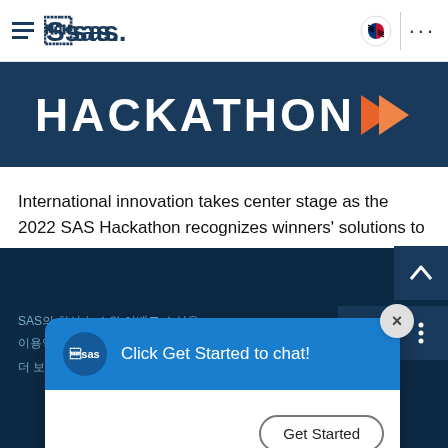SAS navigation header with hamburger menu, SAS logo, Korean flag icon, and more options dots
[Figure (logo): HACKATHON text logo in white bold uppercase on dark navy background with orange arrow chevron]
International innovation takes center stage as the 2022 SAS Hackathon recognizes winners' solutions to real-life challenges.
[Figure (screenshot): Chat popup overlay with SAS logo, 'Click Get Started to chat!' header in blue, white body with 'Get Started' button, and X close button]
SAS의 최신 뉴스와 이벤트 소식을
이용약관
더 보기 위한 사항 내용을 알아보기 바랍니다